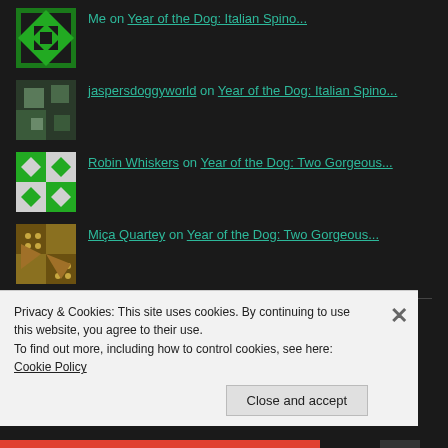Me on Year of the Dog: Italian Spino...
jaspersdoggyworld on Year of the Dog: Italian Spino...
Robin Whiskers on Year of the Dog: Two Gorgeous...
Miça Quartey on Year of the Dog: Two Gorgeous...
ARCHIVES
Select Month
Privacy & Cookies: This site uses cookies. By continuing to use this website, you agree to their use. To find out more, including how to control cookies, see here: Cookie Policy
Close and accept